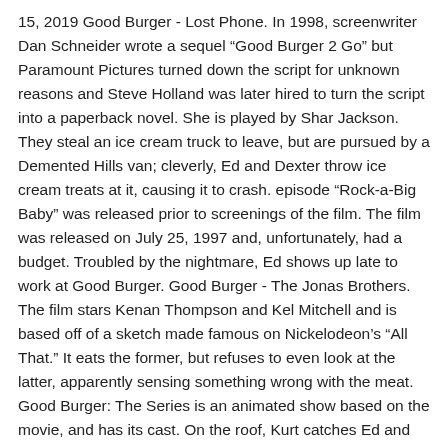15, 2019 Good Burger - Lost Phone. In 1998, screenwriter Dan Schneider wrote a sequel "Good Burger 2 Go" but Paramount Pictures turned down the script for unknown reasons and Steve Holland was later hired to turn the script into a paperback novel. She is played by Shar Jackson. They steal an ice cream truck to leave, but are pursued by a Demented Hills van; cleverly, Ed and Dexter throw ice cream treats at it, causing it to crash. episode "Rock-a-Big Baby" was released prior to screenings of the film. The film was released on July 25, 1997 and, unfortunately, had a budget. Troubled by the nightmare, Ed shows up late to work at Good Burger. Good Burger - The Jonas Brothers. The film stars Kenan Thompson and Kel Mitchell and is based off of a sketch made famous on Nickelodeon's "All That." It eats the former, but refuses to even look at the latter, apparently sensing something wrong with the meat. Good Burger: The Series is an animated show based on the movie, and has its cast. On the roof, Kurt catches Ed and Dexter and confiscates the empty can that Ed is holding. Can I take your order?". Special Delivery 12. Good Burger